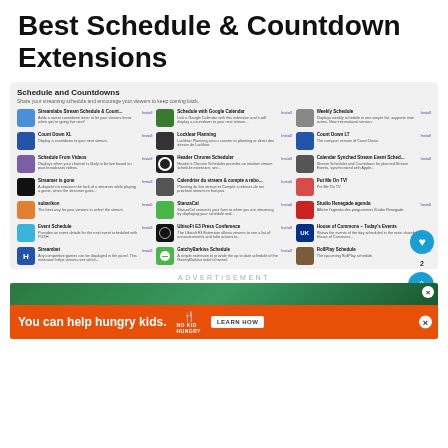Best Schedule & Countdown Extensions
[Figure (screenshot): A Twitch extensions panel showing Schedule and Countdowns category with multiple extensions listed in a 3-column grid, each showing icon, name, description, and Install button]
ADVERTISEMENT
[Figure (photo): Advertisement banner showing a gaming/streaming related image in green]
[Figure (infographic): Orange No Kid Hungry advertisement banner with text: You can help hungry kids. LEARN HOW]